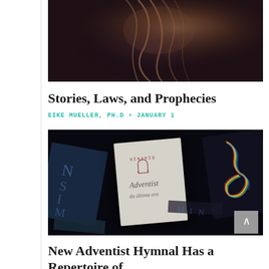[Figure (photo): Dark moody photo of a person with flowing hair, dark background with warm tones]
Stories, Laws, and Prophecies
EIKE MUELLER, PH.D • JANUARY 1
[Figure (photo): Dark overhead photo of multiple Adventist hymnals and music-themed books arranged on a dark surface, with a treble clef decoration]
New Adventist Hymnal Has a Repertoire of